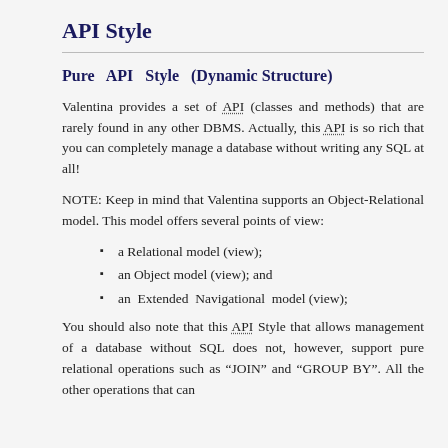API Style
Pure API Style (Dynamic Structure)
Valentina provides a set of API (classes and methods) that are rarely found in any other DBMS. Actually, this API is so rich that you can completely manage a database without writing any SQL at all!
NOTE: Keep in mind that Valentina supports an Object-Relational model. This model offers several points of view:
a Relational model (view);
an Object model (view); and
an Extended Navigational model (view);
You should also note that this API Style that allows management of a database without SQL does not, however, support pure relational operations such as “JOIN” and “GROUP BY”. All the other operations that can